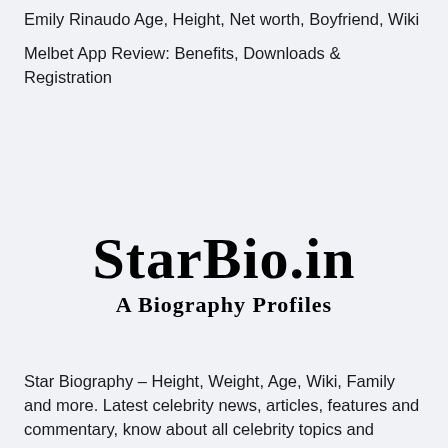Emily Rinaudo Age, Height, Net worth, Boyfriend, Wiki
Melbet App Review: Benefits, Downloads & Registration
[Figure (logo): StarBio.in logo with 'A Biography Profiles' tagline in blackletter/gothic font style]
Star Biography – Height, Weight, Age, Wiki, Family and more. Latest celebrity news, articles, features and commentary, know about all celebrity topics and